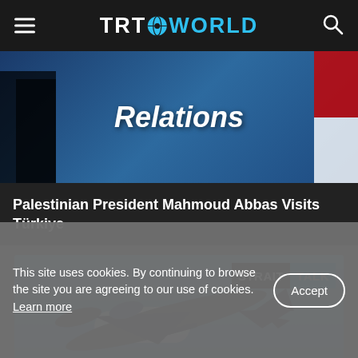TRT WORLD
[Figure (screenshot): Screenshot of TRT World website showing a news article image with 'Relations' text overlay and a red/white flag accent]
Palestinian President Mahmoud Abbas Visits Türkiye
[Figure (photo): Fighter jet (F-16) in flight with blue sky background, with 'STRAIT TALK' logo badge in top right corner]
This site uses cookies. By continuing to browse the site you are agreeing to our use of cookies. Learn more